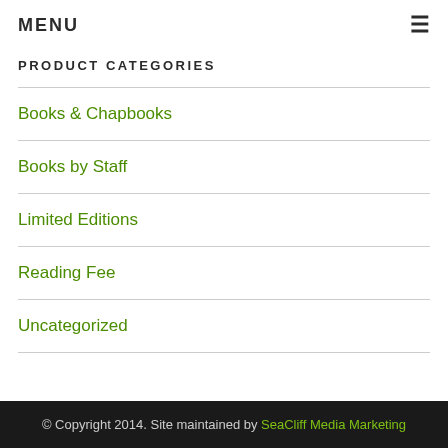MENU ≡
PRODUCT CATEGORIES
Books & Chapbooks
Books by Staff
Limited Editions
Reading Fee
Uncategorized
© Copyright 2014. Site maintained by SeaCliff Media Marketing